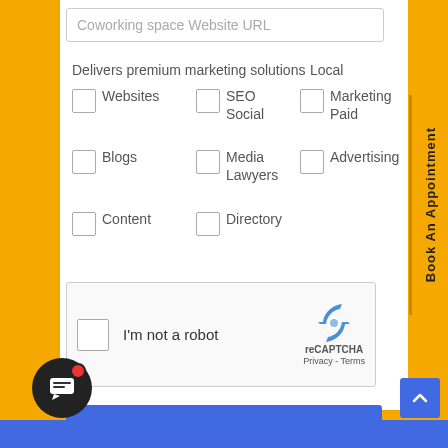Coworking space Website URL
Delivers premium marketing solutions
Local
Websites
SEO Social
Local Marketing Paid
Blogs
Media Lawyers
Advertising
Content
Directory
[Figure (screenshot): reCAPTCHA widget with checkbox labeled I'm not a robot and reCAPTCHA logo with Privacy and Terms links]
Book an Appointment
Book An Appointment